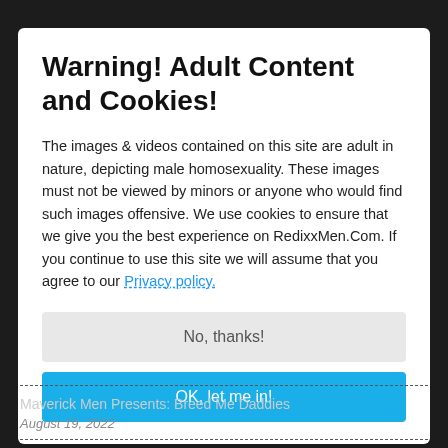Warning! Adult Content and Cookies!
The images & videos contained on this site are adult in nature, depicting male homosexuality. These images must not be viewed by minors or anyone who would find such images offensive. We use cookies to ensure that we give you the best experience on RedixxMen.Com. If you continue to use this site we will assume that you agree to our Privacy policy.
No, thanks!
OK, let me in!
Maverick Men Presents: Breed Me Daddies
August 19, 2022